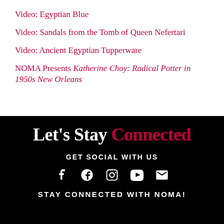Video: Egyptian Blue
Video: Sandals from the Tomb of Queen Nefertari
Video: Ancient Egyptian Tupperware
NOMA Presents Katherine Choy: Radical Potter in 1950s New Orleans
Let's Stay Connected
GET SOCIAL WITH US
[Figure (infographic): Social media icons: Facebook, Pinterest, Instagram, YouTube, Email]
STAY CONNECTED WITH NOMA!